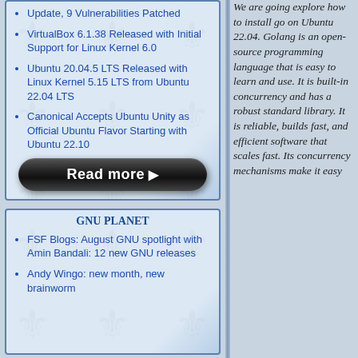Update, 9 Vulnerabilities Patched
VirtualBox 6.1.38 Released with Initial Support for Linux Kernel 6.0
Ubuntu 20.04.5 LTS Released with Linux Kernel 5.15 LTS from Ubuntu 22.04 LTS
Canonical Accepts Ubuntu Unity as Official Ubuntu Flavor Starting with Ubuntu 22.10
[Figure (other): Read more button - dark rounded pill button with white bold text 'Read more' and a play arrow icon]
Gnu Planet
FSF Blogs: August GNU spotlight with Amin Bandali: 12 new GNU releases
Andy Wingo: new month, new brainworm
We are going explore how to install go on Ubuntu 22.04. Golang is an open-source programming language that is easy to learn and use. It is built-in concurrency and has a robust standard library. It is reliable, builds fast, and efficient software that scales fast. Its concurrency mechanisms make it easy